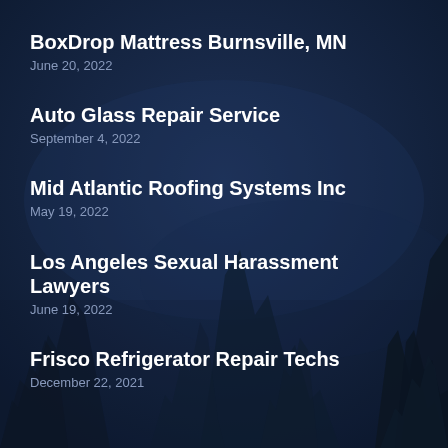[Figure (illustration): Dark navy blue winter night background with silhouetted pine/fir trees, giving a cold atmospheric forest scene]
BoxDrop Mattress Burnsville, MN
June 20, 2022
Auto Glass Repair Service
September 4, 2022
Mid Atlantic Roofing Systems Inc
May 19, 2022
Los Angeles Sexual Harassment Lawyers
June 19, 2022
Frisco Refrigerator Repair Techs
December 22, 2021